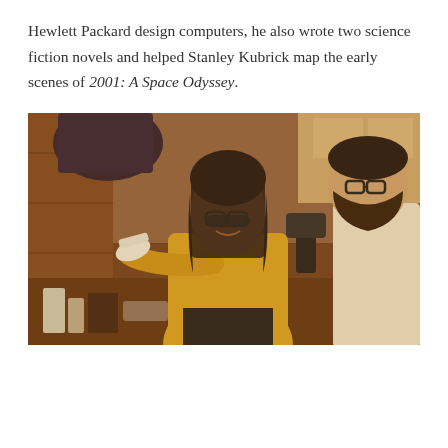Hewlett Packard design computers, he also wrote two science fiction novels and helped Stanley Kubrick map the early scenes of 2001: A Space Odyssey.
[Figure (photo): Vintage color photo of two people in a workshop or studio setting. A person with long dark hair and glasses, wearing a yellow long-sleeve shirt, holds up a white object and appears to be talking. Another person with a beard and glasses, wearing a light-colored shirt, faces them from the right. A workbench with various items is visible in the background.]